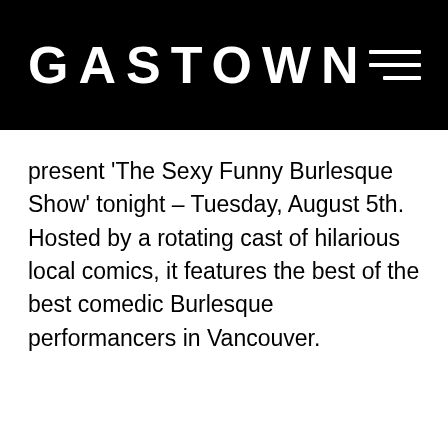GASTOWN
present 'The Sexy Funny Burlesque Show' tonight – Tuesday, August 5th. Hosted by a rotating cast of hilarious local comics, it features the best of the best comedic Burlesque performancers in Vancouver.